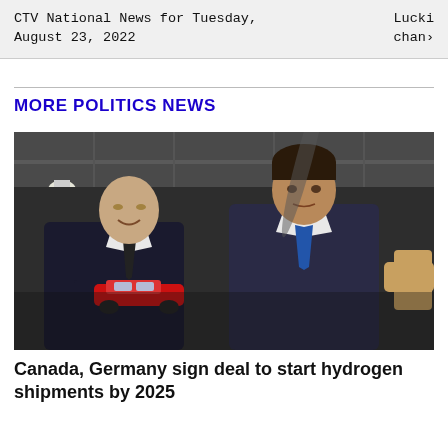CTV National News for Tuesday, August 23, 2022 | Lucki chan
MORE POLITICS NEWS
[Figure (photo): Two men in dark suits examining a small red toy car model indoors in a large hangar-like space. One man is bald and smiling, the other has dark hair and a blue tie.]
Canada, Germany sign deal to start hydrogen shipments by 2025